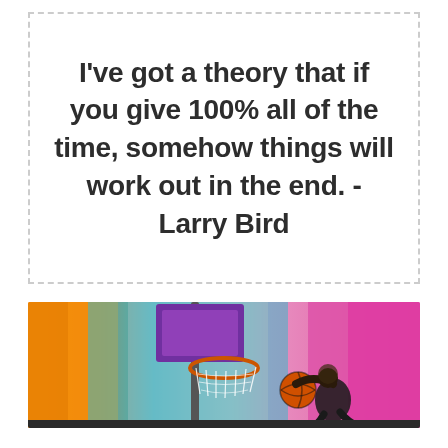I've got a theory that if you give 100% all of the time, somehow things will work out in the end. - Larry Bird
[Figure (photo): A basketball player jumping to dunk near a basketball hoop against a colorful orange, teal, and pink/magenta background.]